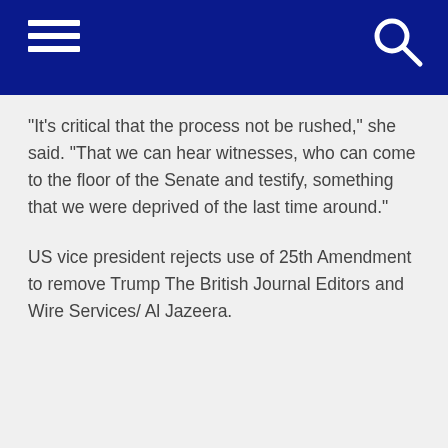“It’s critical that the process not be rushed,” she said. “That we can hear witnesses, who can come to the floor of the Senate and testify, something that we were deprived of the last time around.”
US vice president rejects use of 25th Amendment to remove Trump The British Journal Editors and Wire Services/ Al Jazeera.